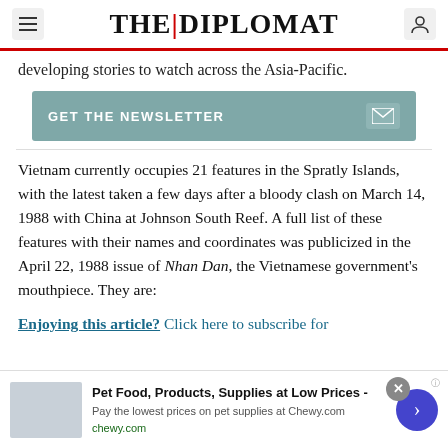THE DIPLOMAT
developing stories to watch across the Asia-Pacific.
GET THE NEWSLETTER
Vietnam currently occupies 21 features in the Spratly Islands, with the latest taken a few days after a bloody clash on March 14, 1988 with China at Johnson South Reef. A full list of these features with their names and coordinates was publicized in the April 22, 1988 issue of Nhan Dan, the Vietnamese government's mouthpiece. They are:
Enjoying this article? Click here to subscribe for
[Figure (other): Advertisement banner: Pet Food, Products, Supplies at Low Prices - chewy.com]